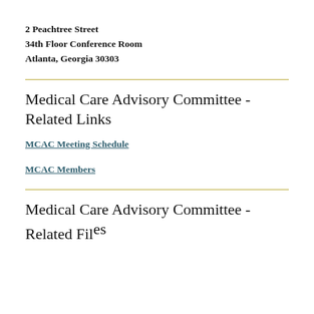2 Peachtree Street
34th Floor Conference Room
Atlanta, Georgia 30303
Medical Care Advisory Committee - Related Links
MCAC Meeting Schedule
MCAC Members
Medical Care Advisory Committee - Related Files